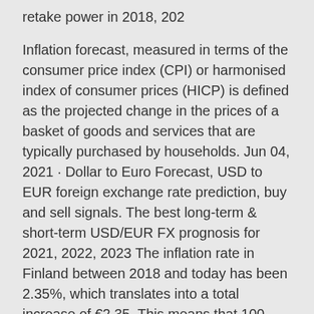retake power in 2018, 202
Inflation forecast, measured in terms of the consumer price index (CPI) or harmonised index of consumer prices (HICP) is defined as the projected change in the prices of a basket of goods and services that are typically purchased by households. Jun 04, 2021 · Dollar to Euro Forecast, USD to EUR foreign exchange rate prediction, buy and sell signals. The best long-term & short-term USD/EUR FX prognosis for 2021, 2022, 2023 The inflation rate in Finland between 2018 and today has been 2.35%, which translates into a total increase of €2.35. This means that 100 euro in 2018 are equivalent to 102.35 euro in 2021. In other words, the purchasing power of €100 in 2018 equals €102.35 today. The average annual inflation rate has been 0.58%